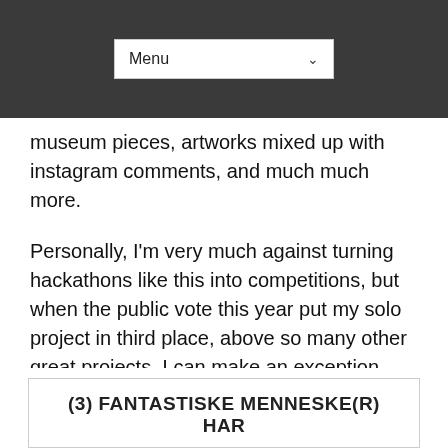Menu
museum pieces, artworks mixed up with instagram comments, and much much more.
Personally, I'm very much against turning hackathons like this into competitions, but when the public vote this year put my solo project in third place, above so many other great projects, I can make an exception.
[Figure (illustration): Tag/label icon]
(3) FANTASTISKE MENNESKE(R) HAR